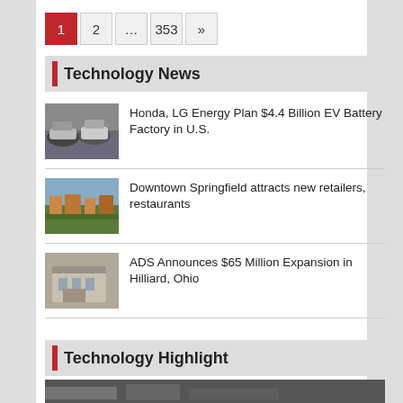1  2  ...  353  »
Technology News
Honda, LG Energy Plan $4.4 Billion EV Battery Factory in U.S.
[Figure (photo): Row of cars in a parking lot]
Downtown Springfield attracts new retailers, restaurants
[Figure (photo): Aerial view of downtown Springfield]
ADS Announces $65 Million Expansion in Hilliard, Ohio
[Figure (photo): Modern commercial building exterior]
Technology Highlight